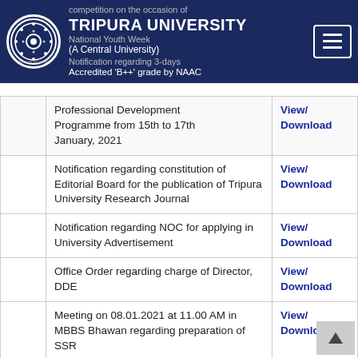TRIPURA UNIVERSITY (A Central University) Accredited 'B++' grade by NAAC
|  | Description | Link |
| --- | --- | --- |
|  | competition on the occasion of National Youth Week / Notification regarding 3-days Professional Development Programme from 15th to 17th January, 2021 | Download / View/ Download |
|  | Notification regarding constitution of Editorial Board for the publication of Tripura University Research Journal | View/ Download |
|  | Notification regarding NOC for applying in University Advertisement | View/ Download |
|  | Office Order regarding charge of Director, DDE | View/ Download |
|  | Meeting on 08.01.2021 at 11.00 AM in MBBS Bhawan regarding preparation of SSR | View/ Download |
|  | Notification regarding joining of Dr. Deepak Sharma as Registrar of Tripura University on 05.01.2021 | View/ Download |